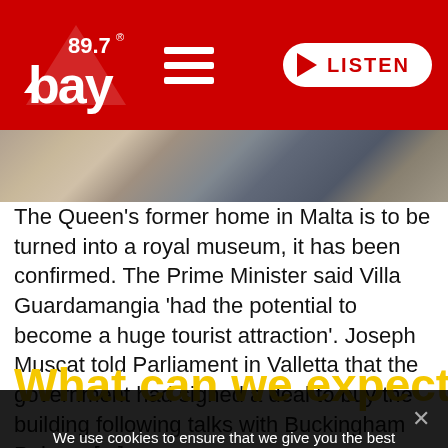[Figure (logo): 89.7 Bay radio logo with hamburger menu icon on red header background, and LISTEN button with play arrow on the right]
[Figure (photo): Partial black and white photo showing interior scene, likely related to Villa Guardamangia]
The Queen's former home in Malta is to be turned into a royal museum, it has been confirmed. The Prime Minister said Villa Guardamangia 'had the potential to become a huge tourist attraction'. Joseph Muscat told Parliament in Valletta that the government had signed a deal to buy the building following talks with Buckingham Palace. [...]
What can we expect from the
We use cookies to ensure that we give you the best experience on our website. If you continue to use this site we will assume that you are happy with it.
Ok